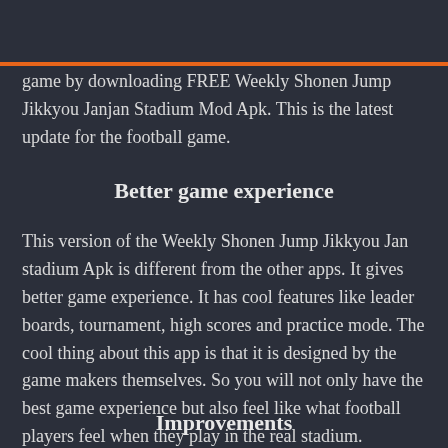game by downloading FREE Weekly Shonen Jump Jikkyou Janjan Stadium Mod Apk. This is the latest update for the football game.
Better game experience
This version of the Weekly Shonen Jump Jikkyou Jan stadium Apk is different from the other apps. It gives better game experience. It has cool features like leader boards, tournament, high scores and practice mode. The cool thing about this app is that it is designed by the game makers themselves. So you will not only have the best game experience but also feel like what football players feel when they play in the real stadium.
Improvements